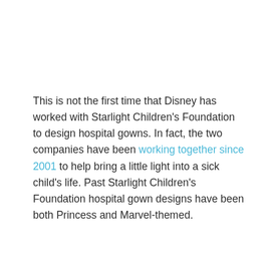This is not the first time that Disney has worked with Starlight Children's Foundation to design hospital gowns. In fact, the two companies have been working together since 2001 to help bring a little light into a sick child's life. Past Starlight Children's Foundation hospital gown designs have been both Princess and Marvel-themed.